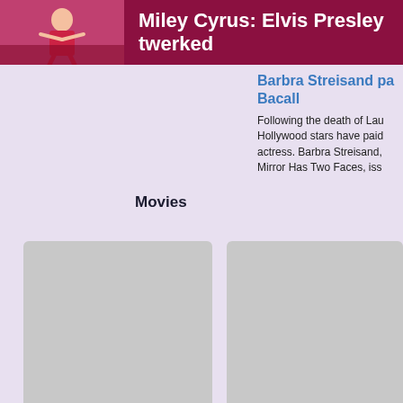[Figure (photo): Header image of a performer in red on stage, used as thumbnail next to headline]
Miley Cyrus: Elvis Presley twerked
Barbra Streisand pa... Bacall
Following the death of Lau... Hollywood stars have paid... actress. Barbra Streisand,... Mirror Has Two Faces, iss...
Movies
[Figure (photo): Movie thumbnail placeholder, grey rectangle on left]
[Figure (photo): Movie thumbnail placeholder, grey rectangle on right]